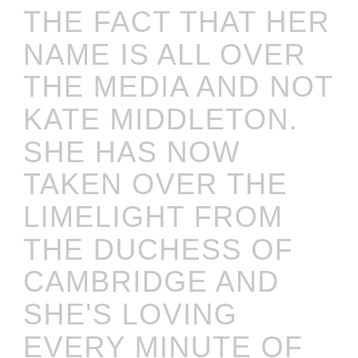THE FACT THAT HER NAME IS ALL OVER THE MEDIA AND NOT KATE MIDDLETON. SHE HAS NOW TAKEN OVER THE LIMELIGHT FROM THE DUCHESS OF CAMBRIDGE AND SHE'S LOVING EVERY MINUTE OF IT. BUT PRETENDING TO BE UPSET AND PLAYING THE VICTIM CARD. WHY DIDN'T MEGHAN INVITE EVEN HER BLACK FAMILY TO